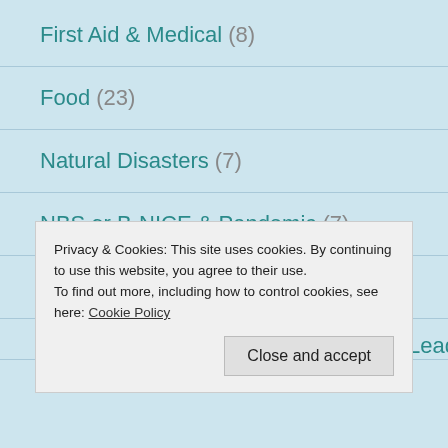First Aid & Medical (8)
Food (23)
Natural Disasters (7)
NBS or B-NICE & Pandemic (7)
Pets and Animals in Emergencies (1)
Quotes from Scripture & LDS Church Leaders on
Privacy & Cookies: This site uses cookies. By continuing to use this website, you agree to their use.
To find out more, including how to control cookies, see here: Cookie Policy
Self & Family Preparedness (8)